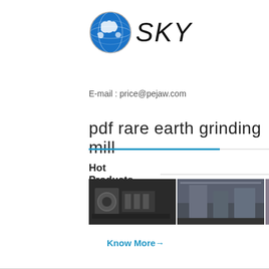[Figure (logo): SKY company logo with globe icon and handwritten SKY text]
E-mail : price@pejaw.com
pdf rare earth grinding mill
Hot Products
[Figure (photo): Four product photos showing industrial crushing and grinding machinery]
Know More→